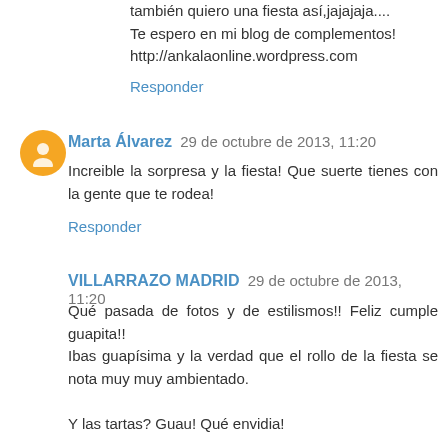también quiero una fiesta así,jajajaja....
Te espero en mi blog de complementos!
http://ankalaonline.wordpress.com
Responder
Marta Álvarez 29 de octubre de 2013, 11:20
Increible la sorpresa y la fiesta! Que suerte tienes con la gente que te rodea!
Responder
VILLARRAZO MADRID 29 de octubre de 2013, 11:20
Qué pasada de fotos y de estilismos!! Feliz cumple guapita!!
Ibas guapísima y la verdad que el rollo de la fiesta se nota muy muy ambientado.

Y las tartas? Guau! Qué envidia!

Un beso desde el equipo de Villarrazo Madrid